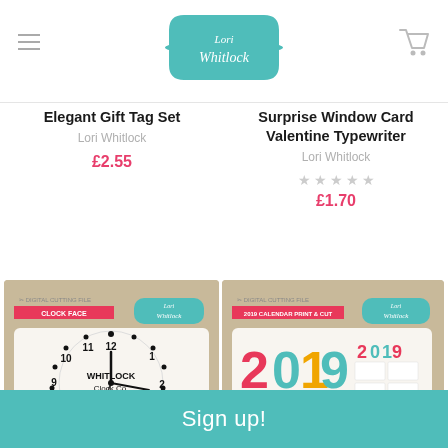[Figure (logo): Lori Whitlock logo in teal badge shape]
Elegant Gift Tag Set
Lori Whitlock
£2.55
Surprise Window Card Valentine Typewriter
Lori Whitlock
£1.70
[Figure (photo): Clock face digital cutting file product package - Whitlock Clock Co. est. 1995]
[Figure (photo): 2019 Calendar Print & Cut digital cutting file product package]
Sign up!